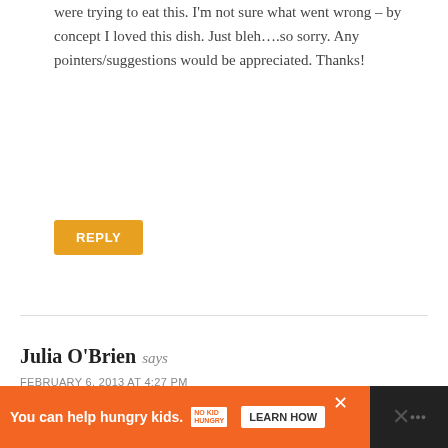were trying to eat this. I'm not sure what went wrong – by concept I loved this dish. Just bleh….so sorry. Any pointers/suggestions would be appreciated. Thanks!
REPLY
Julia O'Brien says
FEBRUARY 6, 2013 AT 4:27 PM
Thanks so much for the shepherds pie recipe – its delicious! It's really easy to make and cheap too. I bought ready made lentils in a pack that didn't need cooking which made it even easier! Thanks again. Julia
You can help hungry kids. NO KID HUNGRY LEARN HOW